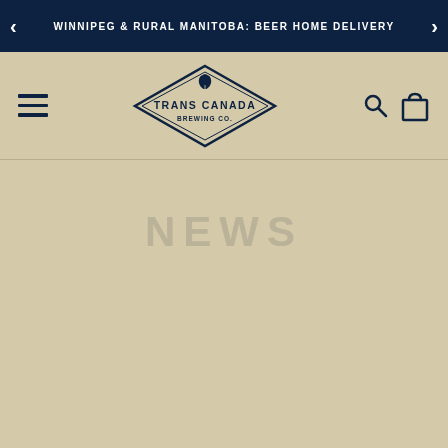WINNIPEG & RURAL MANITOBA: BEER HOME DELIVERY
[Figure (logo): Trans Canada Brewing Co. diamond-shaped logo with text and hop leaf icon]
NEWS